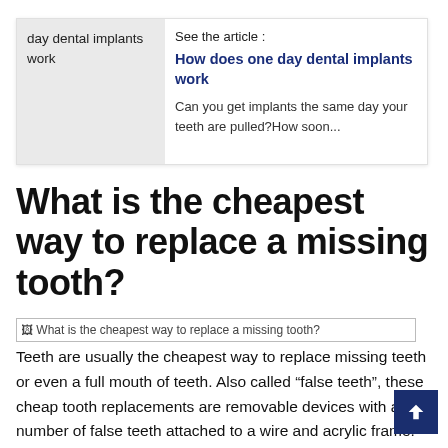day dental implants work
See the article :
How does one day dental implants work
Can you get implants the same day your teeth are pulled?How soon...
What is the cheapest way to replace a missing tooth?
[Figure (photo): Broken image placeholder: What is the cheapest way to replace a missing tooth?]
Teeth are usually the cheapest way to replace missing teeth or even a full mouth of teeth. Also called “false teeth”, these cheap tooth replacements are removable devices with any number of false teeth attached to a wire and acrylic frame.
What is the cheapest way to fix a missing tooth? Teeth. cheapest tooth replacement solution is dentures. This is